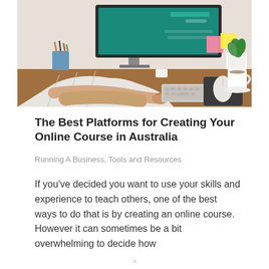[Figure (photo): A person sitting at a desk working on a desktop computer with a teal/green screen, with a keyboard, mouse, phone, plant, and coffee cup visible on a wooden desk.]
The Best Platforms for Creating Your Online Course in Australia
Running A Business, Tools and Resources
If you've decided you want to use your skills and experience to teach others, one of the best ways to do that is by creating an online course. However it can sometimes be a bit overwhelming to decide how